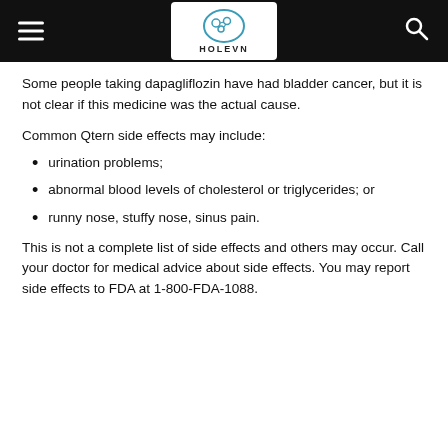HOLEVN
Some people taking dapagliflozin have had bladder cancer, but it is not clear if this medicine was the actual cause.
Common Qtern side effects may include:
urination problems;
abnormal blood levels of cholesterol or triglycerides; or
runny nose, stuffy nose, sinus pain.
This is not a complete list of side effects and others may occur. Call your doctor for medical advice about side effects. You may report side effects to FDA at 1-800-FDA-1088.